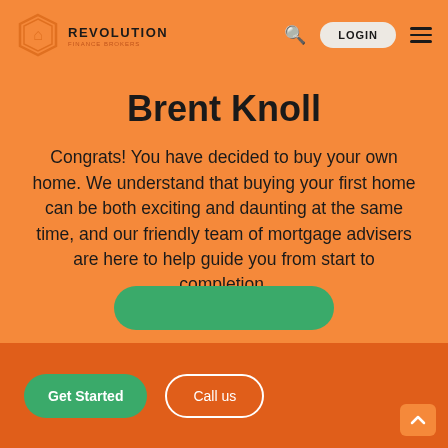[Figure (logo): Revolution Finance Brokers logo with hexagonal icon and text]
REVOLUTION LOGIN
Brent Knoll
Congrats! You have decided to buy your own home. We understand that buying your first home can be both exciting and daunting at the same time, and our friendly team of mortgage advisers are here to help guide you from start to completion.
Get Started
Call us